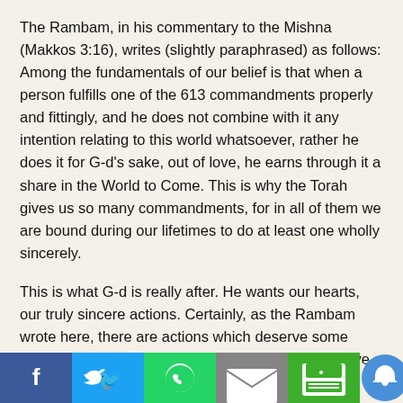The Rambam, in his commentary to the Mishna (Makkos 3:16), writes (slightly paraphrased) as follows: Among the fundamentals of our belief is that when a person fulfills one of the 613 commandments properly and fittingly, and he does not combine with it any intention relating to this world whatsoever, rather he does it for G-d's sake, out of love, he earns through it a share in the World to Come. This is why the Torah gives us so many commandments, for in all of them we are bound during our lifetimes to do at least one wholly sincerely.
This is what G-d is really after. He wants our hearts, our truly sincere actions. Certainly, as the Rambam wrote here, there are actions which deserve some reward in this world and some in the next. If we serve G-d with some spiritual motives while some ulterior ones, some reward will certainly accrue for us in heaven. Yet, ultimately our actions must be real expressions of our belief and commitment. To the extent that this is the case — and only to that extent — they will earn us eternity. Sadly, most of our shi... na... ort-sighted actions will in the